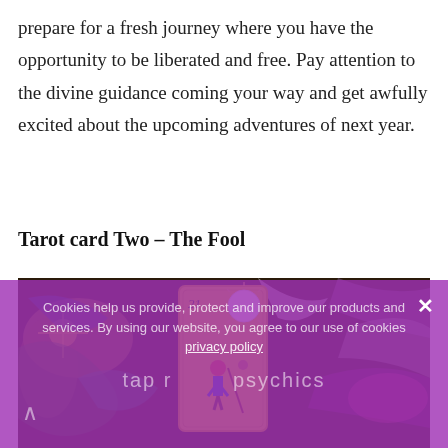prepare for a fresh journey where you have the opportunity to be liberated and free. Pay attention to the divine guidance coming your way and get awfully excited about the upcoming adventures of next year.
Tarot card Two – The Fool
[Figure (photo): A tarot card (numbered 21, yellow background with a sun and figure) resting among colorful ribbons, ornaments, and decorative objects.]
Cookies help us provide, protect and improve our products and services. By using our website, you agree to our use of cookies privacy policy